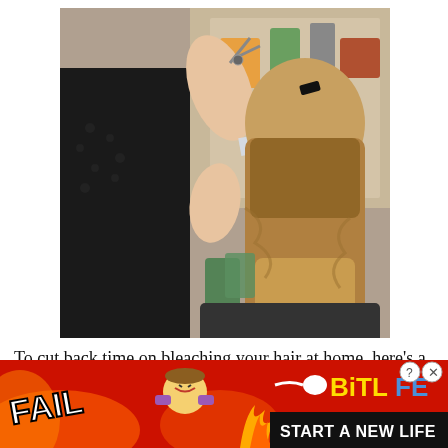[Figure (photo): A hairdresser in a black lace top applying highlights or bleach to a client's long brown hair in a salon setting. The client is seated facing away from the camera. Salon products and a green candle are visible in the background mirror.]
To cut back time on bleaching your hair at home, here's a list of things you should and shouldn't do to minimize the
[Figure (infographic): Advertisement banner for BitLife game. Red fiery background with 'FAIL' text on left, cartoon emoji of person pulling hair, flame graphic in center, BitLife logo on right with '?' and 'X' buttons, and black bar at bottom reading 'START A NEW LIFE'.]